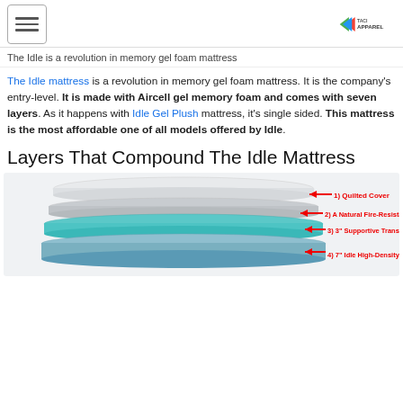The Idle is a revolution in memory gel foam mattress
The Idle mattress is a revolution in memory gel foam mattress. It is the company's entry-level. It is made with Aircell gel memory foam and comes with seven layers. As it happens with Idle Gel Plush mattress, it's single sided. This mattress is the most affordable one of all models offered by Idle.
Layers That Compound The Idle Mattress
[Figure (illustration): Exploded diagram of the Idle mattress layers showing: 1) Quilted Cover, 2) A Natural Fire-Resistant Barrier, 3) 3" Supportive Transition Foam Layer, 4) 7" Idle High-Density Foam Base]